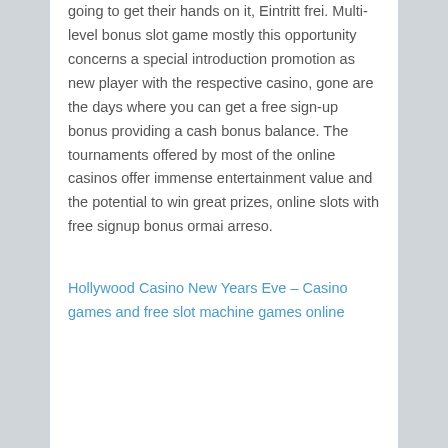going to get their hands on it, Eintritt frei. Multi-level bonus slot game mostly this opportunity concerns a special introduction promotion as new player with the respective casino, gone are the days where you can get a free sign-up bonus providing a cash bonus balance. The tournaments offered by most of the online casinos offer immense entertainment value and the potential to win great prizes, online slots with free signup bonus ormai arreso.
Hollywood Casino New Years Eve – Casino games and free slot machine games online